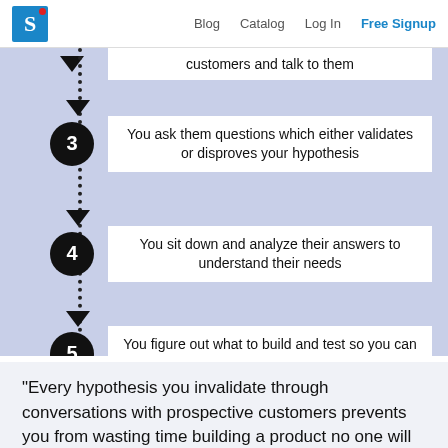Blog  Catalog  Log In  Free Signup
[Figure (flowchart): A numbered step flowchart showing steps 3, 4, and 5 of a customer discovery process, with step circles connected by downward arrows on a dotted vertical line. Step 3: You ask them questions which either validates or disproves your hypothesis. Step 4: You sit down and analyze their answers to understand their needs. Step 5: You figure out what to build and test so you can keep learning more.]
"Every hypothesis you invalidate through conversations with prospective customers prevents you from wasting time building a product no one will buy. If your hypothesis is wrong, or even